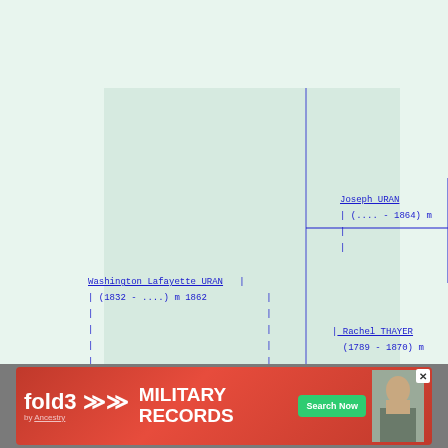[Figure (organizational-chart): Genealogy family tree showing Washington Lafayette URAN (1832 - ....) m 1862, with parents Joseph URAN (....- 1864) and Rachel THAYER (1789 - 1870), and child Edward URAN]
[Figure (infographic): fold3 by Ancestry advertisement banner for Military Records with Search Now button]